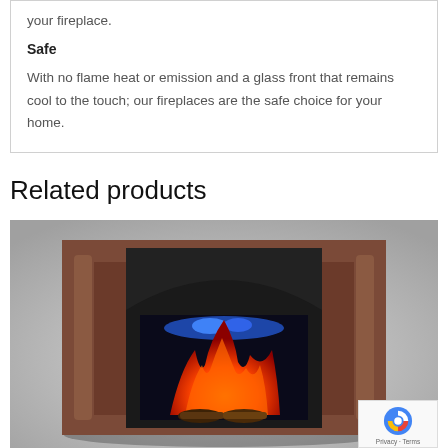your fireplace.
Safe
With no flame heat or emission and a glass front that remains cool to the touch; our fireplaces are the safe choice for your home.
Related products
[Figure (photo): Electric fireplace with dark wood mantel surround, showing blue and orange flame effects inside the firebox, displayed on a light grey background.]